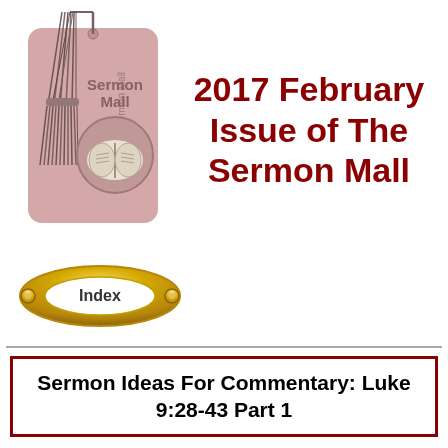[Figure (illustration): A bookmark illustration with tassel showing 'The Sermon Mall' text vertically and 'Sermon Mall' text with an open Bible image in a circle, on a pink/mauve background card]
2017 February Issue of The Sermon Mall
[Figure (illustration): A gold oval button/badge with 'Index' text in the center, with small metallic bolts on sides]
Sermon Ideas For Commentary: Luke 9:28-43 Part 1